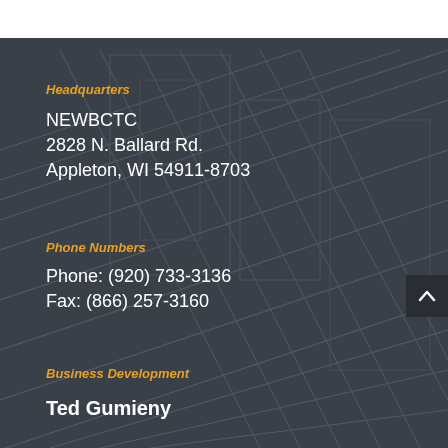Headquarters
NEWBCTC
2828 N. Ballard Rd.
Appleton, WI 54911-8703
Phone Numbers
Phone: (920) 733-3136
Fax: (866) 257-3160
Business Development
Ted Gumieny